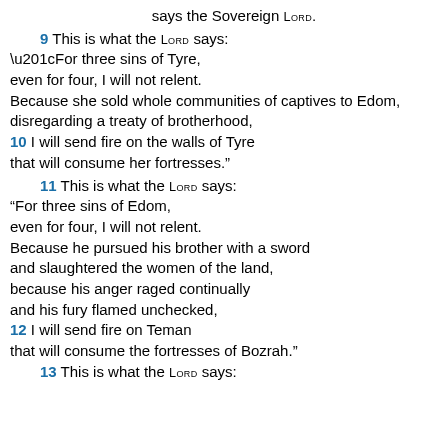says the Sovereign LORD.
9 This is what the LORD says:
“For three sins of Tyre,
even for four, I will not relent.
Because she sold whole communities of captives to Edom,
disregarding a treaty of brotherhood,
10 I will send fire on the walls of Tyre
that will consume her fortresses.”
11 This is what the LORD says:
“For three sins of Edom,
even for four, I will not relent.
Because he pursued his brother with a sword
and slaughtered the women of the land,
because his anger raged continually
and his fury flamed unchecked,
12 I will send fire on Teman
that will consume the fortresses of Bozrah.”
13 This is what the LORD says: